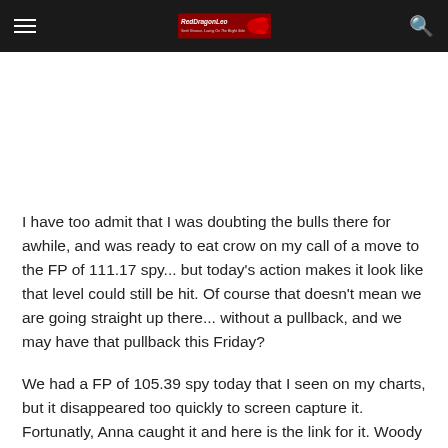RedDragonLeo — Seek Reason, Loving On The Bright Side
I have too admit that I was doubting the bulls there for awhile, and was ready to eat crow on my call of a move to the FP of 111.17 spy... but today's action makes it look like that level could still be hit.  Of course that doesn't mean we are going straight up there... without a pullback, and we may have that pullback this Friday?
We had a FP of 105.39 spy today that I seen on my charts, but it disappeared too quickly to screen capture it.  Fortunatly, Anna caught it and here is the link for it.  Woody and Shaan also seen